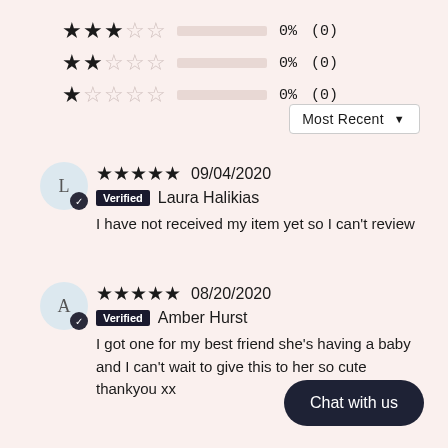[Figure (infographic): Star rating rows: 3-star 0% (0), 2-star 0% (0), 1-star 0% (0) with empty progress bars]
Most Recent ▼
★★★★★ 09/04/2020 Verified Laura Halikias
I have not received my item yet so I can't review
★★★★★ 08/20/2020 Verified Amber Hurst
I got one for my best friend she's having a baby and I can't wait to give this to her so cute thankyou xx
Chat with us